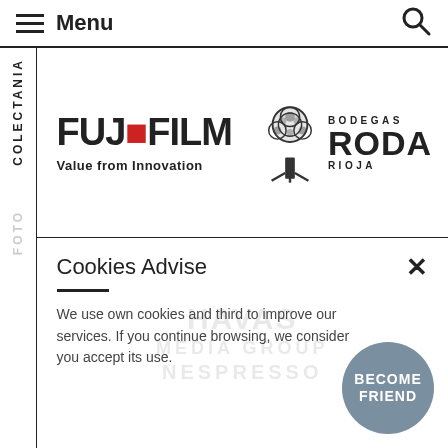Menu
[Figure (logo): FUJIFILM logo with tagline 'Value from Innovation']
[Figure (logo): Bodegas RODA Rioja logo with tree illustration]
Cookies Advise
We use own cookies and third to improve our services. If you continue browsing, we consider you accept its use.
[Figure (other): Become Friend circular badge in slate blue]